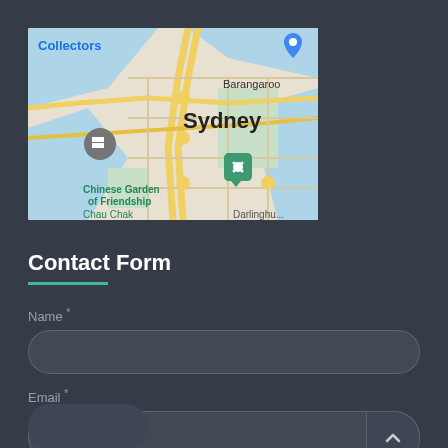[Figure (map): Google Maps screenshot showing Sydney CBD area including Barangaroo, Chinese Garden of Friendship, Chau Chak, and Darlinghurst areas]
Contact Form
Name *
Email *